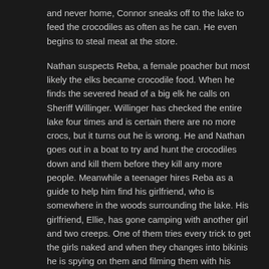and never home, Connor sneaks off to the lake to feed the crocodiles as often as he can. He even begins to steal meat at the store.
Nathan suspects Reba, a female poacher but most likely the elks became crocodile food. When he finds the severed head of a big elk he calls on Sheriff Willinger. Willinger has checked the entire lake four times and is certain there are no more crocs, but it turns out he is wrong. He and Nathan goes out in a boat to try and hunt the crocodiles down and kill them before they kill any more people. Meanwhile a teenager hires Reba as a guide to help him find his girlfriend, who is somewhere in the woods surrounding the lake. His girlfriend, Ellie, has gone camping with another girl and two creeps. One of them tries every trick to get the girls naked and when they changes into bikinis he is spying on them and filming them with his phone. The other one has lied to Ellie about her boyfriend cheating on her and that's why she went along camping.
Connor sneaks off to the Lake House to feed the crocodiles but he is followed by Vica, the babysitter. Her dog is killed by a